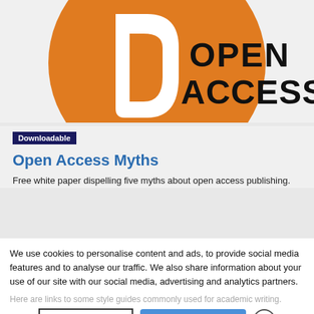[Figure (logo): Open Access logo — orange circle with white 'd' shape and black text 'OPEN ACCESS']
Downloadable
Open Access Myths
Free white paper dispelling five myths about open access publishing.
We use cookies to personalise content and ads, to provide social media features and to analyse our traffic. We also share information about your use of our site with our social media, advertising and analytics partners.
Here are links to some style guides commonly used for academic writing.